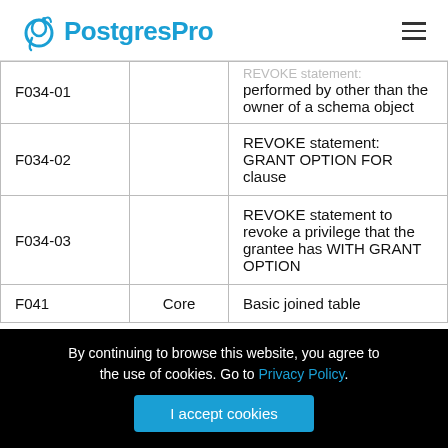PostgresPro
|  |  |  |
| --- | --- | --- |
| F034-01 |  | REVOKE statement performed by other than the owner of a schema object |
| F034-02 |  | REVOKE statement: GRANT OPTION FOR clause |
| F034-03 |  | REVOKE statement to revoke a privilege that the grantee has WITH GRANT OPTION |
| F041 | Core | Basic joined table |
By continuing to browse this website, you agree to the use of cookies. Go to Privacy Policy.